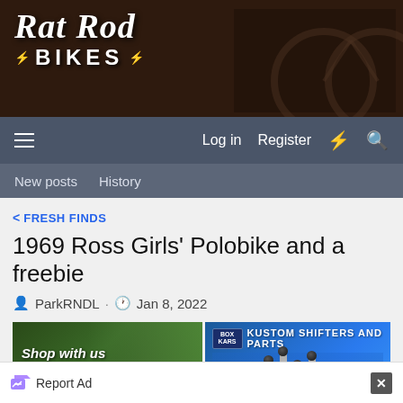[Figure (logo): Rat Rod Bikes logo with banner image of vintage bicycle in dark brown/sepia background]
Log in  Register
New posts  History
< FRESH FINDS
1969 Ross Girls' Polobike and a freebie
ParkRNDL · Jan 8, 2022
[Figure (photo): eBay advertisement banner: 'Shop with us ebay www.ratrodbikes.com' with green garden background]
[Figure (photo): Boxkars advertisement: 'Kustom Shifters and Parts' with shift knobs image and 'Shop Now!' button on blue background]
Report Ad